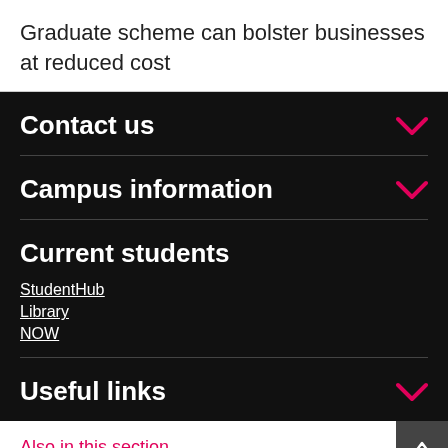Graduate scheme can bolster businesses at reduced cost
Contact us
Campus information
Current students
StudentHub
Library
NOW
Useful links
Also in this section